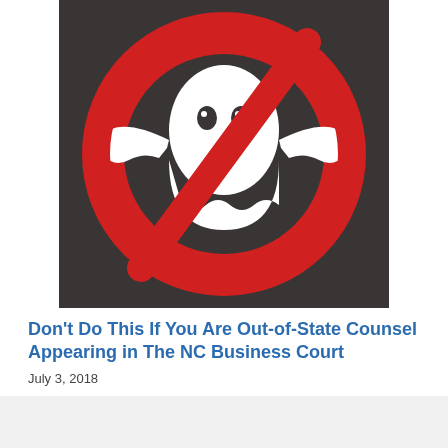[Figure (illustration): Ghostbusters logo: white ghost with arms outstretched inside a red circle with a red diagonal slash, on a dark charcoal background]
Don't Do This If You Are Out-of-State Counsel Appearing in The NC Business Court
July 3, 2018